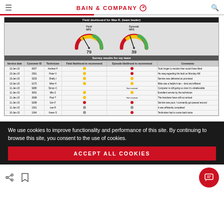BAIN & COMPANY
[Figure (screenshot): Field dashboard for Max R. (team leader) showing two NPS gauges: Field NPS = 79, Episode NPS = 39, and a survey results table with columns: Service date, Customer ID, Technician, Field likelihood to recommend, Episode likelihood to recommend, Comments. Rows include dates 10-Jan-15 through 13-Jan-15 with various technician names, emoji indicators, and comment text.]
We use cookies to improve functionality and performance of this site. By continuing to browse this site, you consent to the use of cookies.
ACCEPT ALL COOKIES